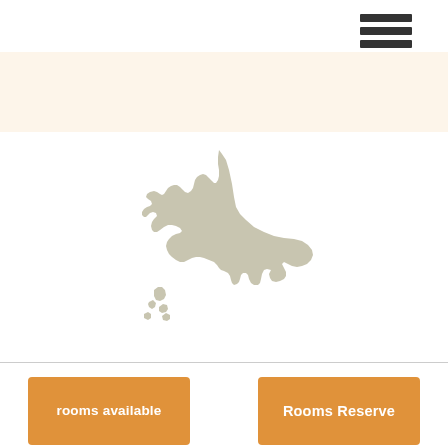[Figure (other): Hamburger menu icon — three horizontal dark grey bars in upper right corner]
[Figure (other): Beige/cream horizontal banner strip]
[Figure (map): Silhouette map of Hokkaido, Japan in light grey/beige color on white background]
rooms available
Rooms Reserve